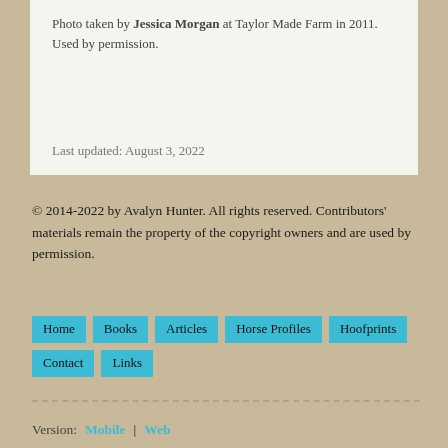Photo taken by Jessica Morgan at Taylor Made Farm in 2011. Used by permission.
Last updated: August 3, 2022
© 2014-2022 by Avalyn Hunter. All rights reserved. Contributors' materials remain the property of the copyright owners and are used by permission.
Home
Books
Articles
Horse Profiles
Hoofprints
Contact
Links
Version: Mobile | Web